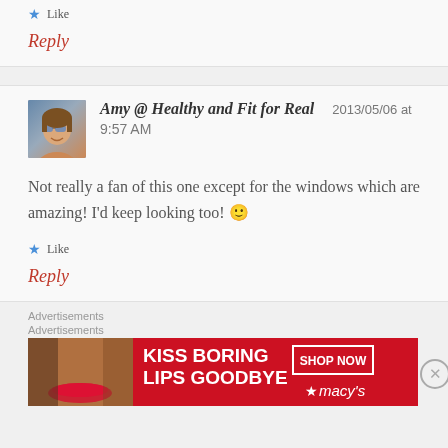Like
Reply
Amy @ Healthy and Fit for Real  2013/05/06 at 9:57 AM
Not really a fan of this one except for the windows which are amazing! I'd keep looking too! 🙂
Like
Reply
Advertisements
Advertisements
[Figure (infographic): Macy's lipstick advertisement banner reading 'KISS BORING LIPS GOODBYE' with 'SHOP NOW' button and Macy's star logo]